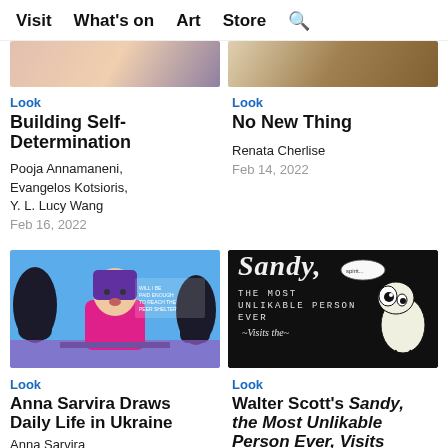Visit  What's on  Art  Store  🔍
[Figure (photo): Partial top of article image, left column]
Look
Building Self-Determination
Pooja Annamaneni, Evangelos Kotsioris, Y. L. Lucy Wang
Feb 16, 2022
[Figure (photo): Partial top of article image, right column]
Look
No New Thing
Renata Cherlise
Feb 14, 2022
[Figure (illustration): Illustration of a woman sitting at a table with dark silhouettes behind her on a blue background]
Look
Anna Sarvira Draws Daily Life in Ukraine
Anna Sarvira
[Figure (photo): Black background with white handwritten text reading 'Sandy, the Most Unlikable Person Ever - Visits the -' and a cartoon creature]
Look
Walter Scott's Sandy, the Most Unlikable Person Ever, Visits the Museum